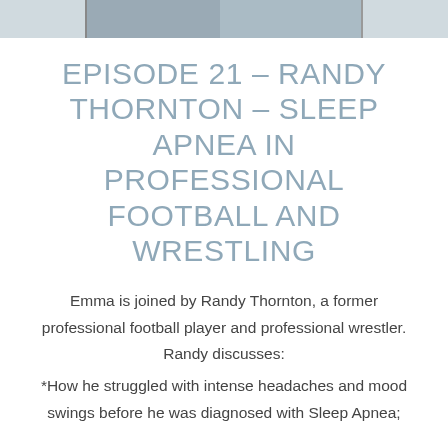[Figure (photo): Cropped photo strip showing partial faces of two people]
EPISODE 21 – RANDY THORNTON – SLEEP APNEA IN PROFESSIONAL FOOTBALL AND WRESTLING
Emma is joined by Randy Thornton, a former professional football player and professional wrestler. Randy discusses:
*How he struggled with intense headaches and mood swings before he was diagnosed with Sleep Apnea;